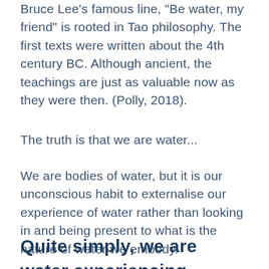Bruce Lee's famous line, "Be water, my friend" is rooted in Tao philosophy. The first texts were written about the 4th century BC. Although ancient, the teachings are just as valuable now as they were then. (Polly, 2018).
The truth is that we are water...
We are bodies of water, but it is our unconscious habit to externalise our experience of water rather than looking in and being present to what is the nature of water we embody.
Quite simply, we are water experiencing consciousness